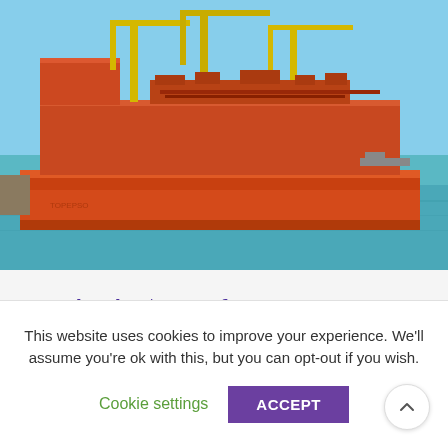[Figure (photo): Large orange FPSO (Floating Production Storage and Offloading) vessel docked at port with yellow cranes and industrial structures on top, blue sky and calm water visible.]
PJV banks $11M of FPSO contracts in Brazil
Hertford, UK 23rd November 2021: PJ Valves (PJV), the specialist manufacturer and supplier of valves for the global energy industry, has been awarded two
This website uses cookies to improve your experience. We'll assume you're ok with this, but you can opt-out if you wish.
Cookie settings   ACCEPT